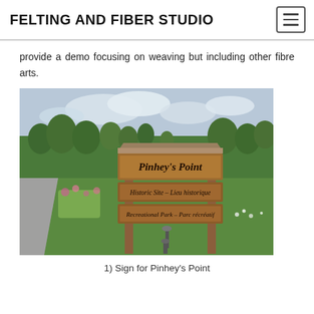FELTING AND FIBER STUDIO
provide a demo focusing on weaving but including other fibre arts.
[Figure (photo): Outdoor wooden sign for Pinhey's Point with three panels: 'Pinhey's Point' at top, 'Historic Site – Lieu historique' in middle, 'Recreational Park – Parc récréatif' at bottom. Sign stands in a grassy area with trees and cloudy sky in background.]
1) Sign for Pinhey's Point